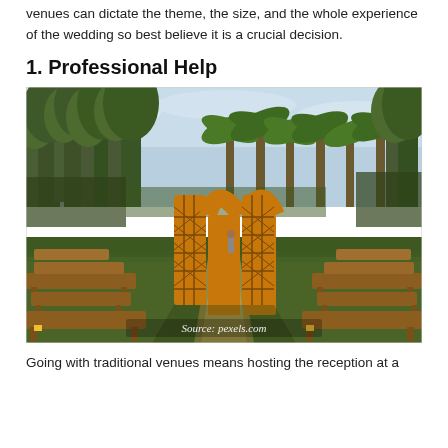venues can dictate the theme, the size, and the whole experience of the wedding so best believe it is a crucial decision.
1. Professional Help
[Figure (photo): Outdoor wedding venue with wooden arched gates decorated with lattice patterns, rows of wooden benches on grass, surrounded by tall tropical trees. Photo source: pexels.com]
Going with traditional venues means hosting the reception at a